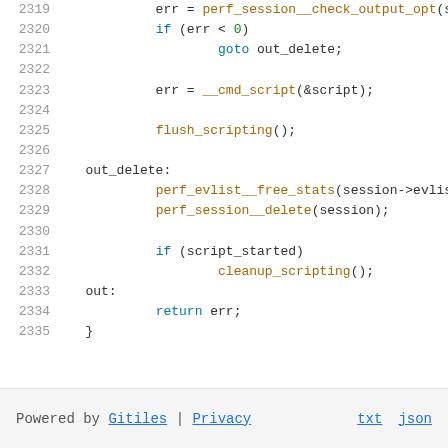[Figure (screenshot): Source code viewer showing C code lines 2319-2335 with syntax highlighting. Line numbers in grey on left, keywords in blue, function names in orange/gold.]
Powered by Gitiles | Privacy   txt  json